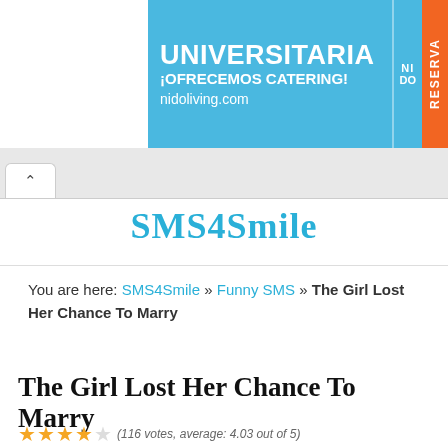[Figure (screenshot): Advertisement banner for nidoliving.com - UNIVERSITARIA, ¡OFRECEMOS CATERING!, nidoliving.com with orange RESERVA button]
SMS4Smile
You are here: SMS4Smile » Funny SMS » The Girl Lost Her Chance To Marry
The Girl Lost Her Chance To Marry
(116 votes, average: 4.03 out of 5)